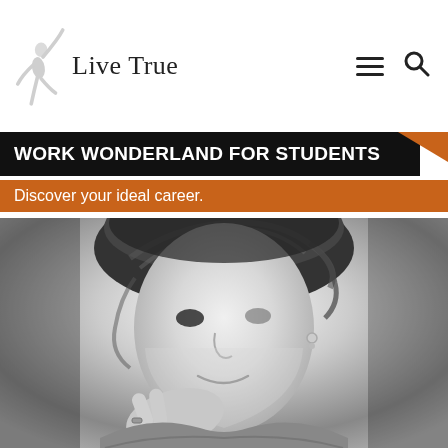Live True
WORK WONDERLAND FOR STUDENTS
Discover your ideal career.
[Figure (photo): Black and white portrait photo of a young woman with short hair, resting her chin on her hand, smiling slightly, wearing a textured sweater and stud earrings.]